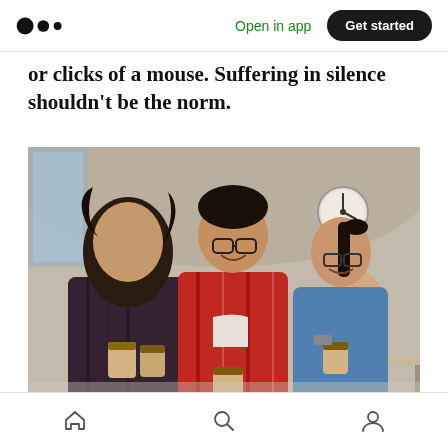Medium logo | Open in app | Get started
or clicks of a mouse. Suffering in silence shouldn't be the norm.
[Figure (photo): Three colleagues chatting and holding coffee cups in a casual office space with brick walls and arched ceiling. A fourth person sits working in the background. A clock is visible on the wall.]
Home | Search | Profile navigation icons